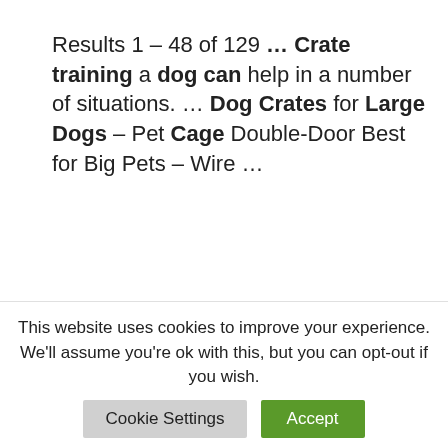Results 1 – 48 of 129 … Crate training a dog can help in a number of situations. … Dog Crates for Large Dogs – Pet Cage Double-Door Best for Big Pets – Wire …
Dog Training
< can i use a dog whistle to train a cat
> how to train both dogs to behave
This website uses cookies to improve your experience. We'll assume you're ok with this, but you can opt-out if you wish.